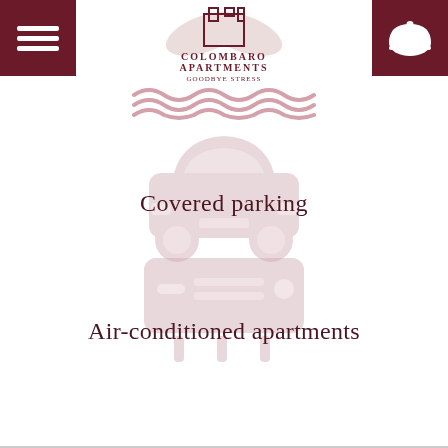[Figure (logo): Colombaro Apartments logo with house/castle icon and text COLOMBARO APARTMENTS GOODBYE STRESS]
[Figure (illustration): Decorative wavy lines icon in dusty rose/mauve color]
[Figure (illustration): Car icon in dusty rose/mauve color representing covered parking]
Covered parking
[Figure (illustration): Air conditioner unit icon in dusty rose/mauve color]
Air-conditioned apartments